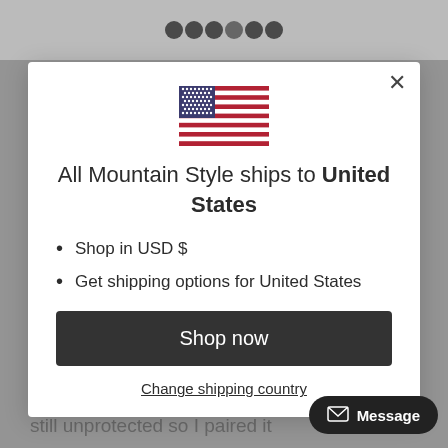[Figure (screenshot): White modal dialog on a grey dimmed background. Modal shows a US flag, text about shipping to United States, bullet points for USD and shipping options, a Shop now button, and a Change shipping country link.]
All Mountain Style ships to United States
Shop in USD $
Get shipping options for United States
Shop now
Change shipping country
Too but it left a lot of... still unprotected so I paired it
Message